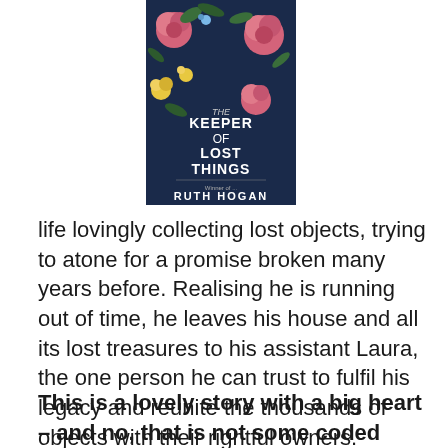[Figure (photo): Book cover of 'The Keeper of Lost Things' by Ruth Hogan. Dark blue background with floral decorations including pink roses and yellow flowers. White text reads 'KEEPER OF LOST THINGS' and author name 'RUTH HOGAN' at bottom.]
life lovingly collecting lost objects, trying to atone for a promise broken many years before. Realising he is running out of time, he leaves his house and all its lost treasures to his assistant Laura, the one person he can trust to fulfil his legacy and reunite the thousands of objects with their rightful owners.
But the final wishes of the Keeper of Lost Things have unforeseen repercussions which trigger a most serendipitous series of encounters…
This is a lovely story with a big heart – and no, that is not some coded warning that this is a saccharine